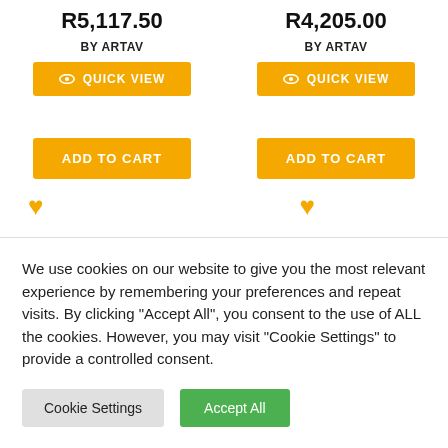R5,117.50
BY ARTAV
QUICK VIEW
ADD TO CART
R4,205.00
BY ARTAV
QUICK VIEW
ADD TO CART
[Figure (illustration): Two yellow heart/wishlist icons]
We use cookies on our website to give you the most relevant experience by remembering your preferences and repeat visits. By clicking "Accept All", you consent to the use of ALL the cookies. However, you may visit "Cookie Settings" to provide a controlled consent.
Cookie Settings
Accept All